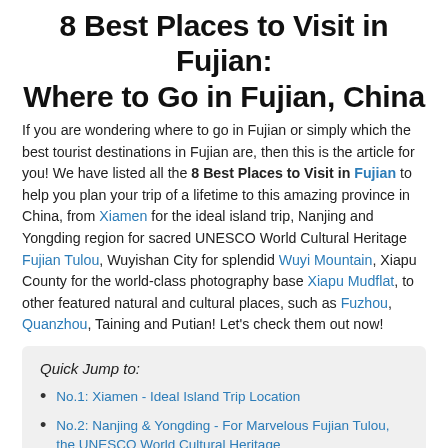8 Best Places to Visit in Fujian: Where to Go in Fujian, China
If you are wondering where to go in Fujian or simply which the best tourist destinations in Fujian are, then this is the article for you! We have listed all the 8 Best Places to Visit in Fujian to help you plan your trip of a lifetime to this amazing province in China, from Xiamen for the ideal island trip, Nanjing and Yongding region for sacred UNESCO World Cultural Heritage Fujian Tulou, Wuyishan City for splendid Wuyi Mountain, Xiapu County for the world-class photography base Xiapu Mudflat, to other featured natural and cultural places, such as Fuzhou, Quanzhou, Taining and Putian! Let's check them out now!
Quick Jump to:
No.1: Xiamen - Ideal Island Trip Location
No.2: Nanjing & Yongding - For Marvelous Fujian Tulou, the UNESCO World Cultural Heritage